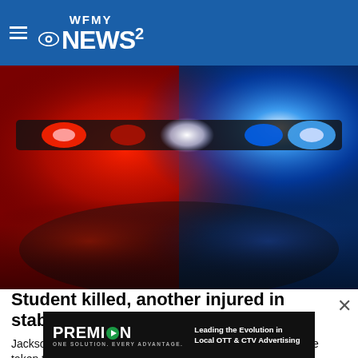WFMY NEWS 2
[Figure (photo): Police car emergency lights with red and blue flashing lights illuminating the scene at night]
Student killed, another injured in stabbing at NC high school
Jacksonville Police Chief Mike Yaniero said two students were taken to the hospital and one of them later died. He s…
WFMY
[Figure (logo): PREMION advertisement banner — Leading the Evolution in Local OTT & CTV Advertising]